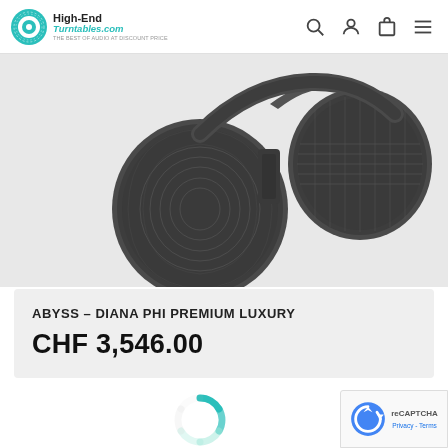High-End Turntables.com — The best of audio at discount prices
[Figure (photo): Close-up photo of dark grey Abyss Diana Phi Premium Luxury headphones showing two ear cups with distinctive circular patterned driver covers]
ABYSS – DIANA PHI PREMIUM LUXURY
CHF 3,546.00
[Figure (other): Donut-shaped teal/green loading spinner at bottom center of page]
[Figure (other): Google reCAPTCHA badge in bottom-right corner with Privacy and Terms links]